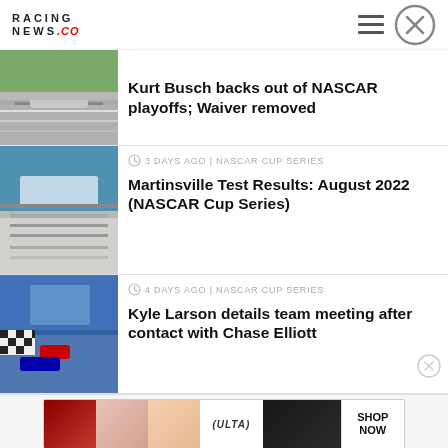RACING NEWS .CO
Kurt Busch backs out of NASCAR playoffs; Waiver removed
3 DAYS AGO | NASCAR CUP SERIES
Martinsville Test Results: August 2022 (NASCAR Cup Series)
4 DAYS AGO | NASCAR CUP SERIES
Kyle Larson details team meeting after contact with Chase Elliott
[Figure (photo): Advertisement banner with Ulta Beauty cosmetics imagery and Shop Now text]